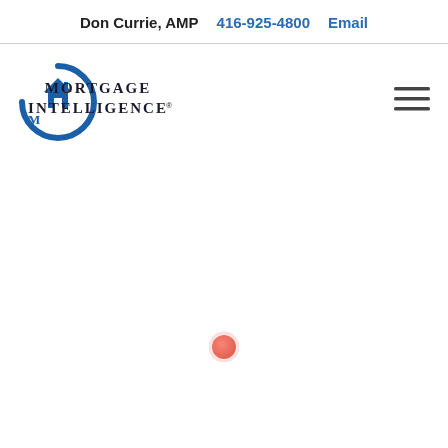Don Currie, AMP   416-925-4800   Email
[Figure (logo): Mortgage Intelligence logo with circular house icon and serif text reading MORTGAGE INTELLIGENCE]
[Figure (other): Hamburger menu icon (three horizontal lines)]
[Figure (other): Loading spinner — small reddish-orange circular dot/button near center-bottom of page]